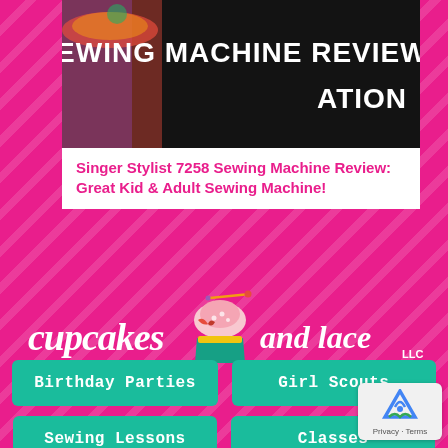[Figure (screenshot): Screenshot of a sewing machine review article thumbnail showing dark background with bold white text 'SEWING MACHINE REVIEW' and colorful fabric/sewing items]
Singer Stylist 7258 Sewing Machine Review: Great Kid & Adult Sewing Machine!
[Figure (logo): Cupcakes and Lace LLC logo — white cursive text 'cupcakes and lace LLC' with a decorative cupcake illustration in the center featuring teal, pink, and yellow colors]
Birthday Parties
Girl Scouts
Sewing Lessons
Classes